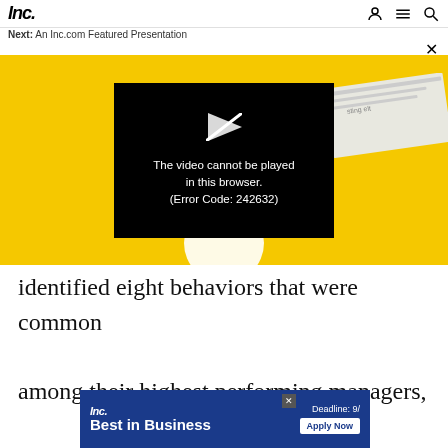Inc. Next: An Inc.com Featured Presentation
[Figure (screenshot): Video player showing yellow background with newspaper and plate, overlaid with black error box: play icon, 'The video cannot be played in this browser. (Error Code: 242632)']
identified eight behaviors that were common among their highest performing managers, and op
[Figure (infographic): Inc. Best in Business advertisement banner with blue background. Inc. logo top left, 'Best in Business' bold white text, 'Deadline: 9/' and 'Apply Now' button on right.]